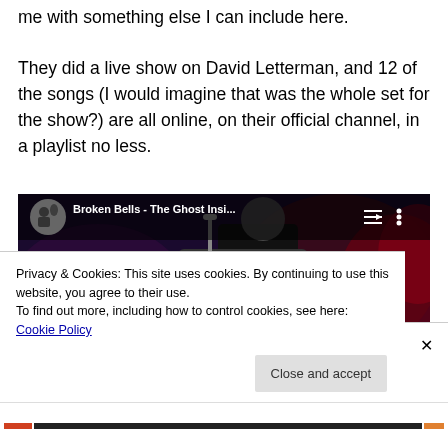me with something else I can include here.
They did a live show on David Letterman, and 12 of the songs (I would imagine that was the whole set for the show?) are all online, on their official channel, in a playlist no less.
[Figure (screenshot): YouTube video embed showing Broken Bells - The Ghost Insi... with a guitarist visible on stage with red lighting, and a red YouTube play button overlay]
Privacy & Cookies: This site uses cookies. By continuing to use this website, you agree to their use. To find out more, including how to control cookies, see here: Cookie Policy
Close and accept